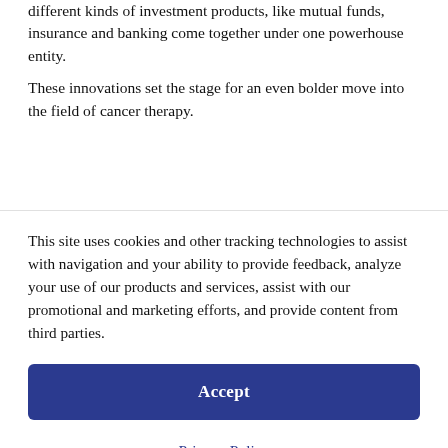different kinds of investment products, like mutual funds, insurance and banking come together under one powerhouse entity.
These innovations set the stage for an even bolder move into the field of cancer therapy.
This site uses cookies and other tracking technologies to assist with navigation and your ability to provide feedback, analyze your use of our products and services, assist with our promotional and marketing efforts, and provide content from third parties.
Accept
Privacy Policy
Cookie settings